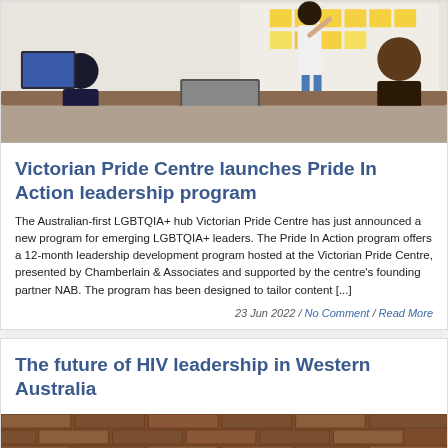[Figure (photo): Workplace meeting scene: a woman with dark hair writing on sticky notes on a wall/whiteboard, with colleagues seated around a table with laptops and papers.]
Victorian Pride Centre launches Pride In Action leadership program
The Australian-first LGBTQIA+ hub Victorian Pride Centre has just announced a new program for emerging LGBTQIA+ leaders. The Pride In Action program offers a 12-month leadership development program hosted at the Victorian Pride Centre, presented by Chamberlain & Associates and supported by the centre's founding partner NAB. The program has been designed to tailor content [...]
23 Jun 2022 / No Comment / Read More
The future of HIV leadership in Western Australia
[Figure (photo): Bottom of a brick wall or building exterior, partially visible at the base of the page.]